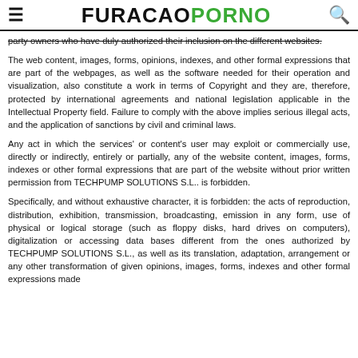FURACAOPORNO
party owners who have duly authorized their inclusion on the different websites.
The web content, images, forms, opinions, indexes, and other formal expressions that are part of the webpages, as well as the software needed for their operation and visualization, also constitute a work in terms of Copyright and they are, therefore, protected by international agreements and national legislation applicable in the Intellectual Property field. Failure to comply with the above implies serious illegal acts, and the application of sanctions by civil and criminal laws.
Any act in which the services' or content's user may exploit or commercially use, directly or indirectly, entirely or partially, any of the website content, images, forms, indexes or other formal expressions that are part of the website without prior written permission from TECHPUMP SOLUTIONS S.L.. is forbidden.
Specifically, and without exhaustive character, it is forbidden: the acts of reproduction, distribution, exhibition, transmission, broadcasting, emission in any form, use of physical or logical storage (such as floppy disks, hard drives on computers), digitalization or accessing data bases different from the ones authorized by TECHPUMP SOLUTIONS S.L., as well as its translation, adaptation, arrangement or any other transformation of given opinions, images, forms, indexes and other formal expressions made